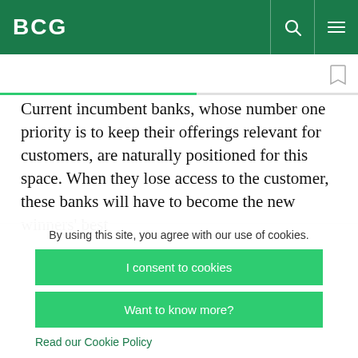BCG
Current incumbent banks, whose number one priority is to keep their offerings relevant for customers, are naturally positioned for this space. When they lose access to the customer, these banks will have to become the new winners' best
By using this site, you agree with our use of cookies.
I consent to cookies
Want to know more?
Read our Cookie Policy